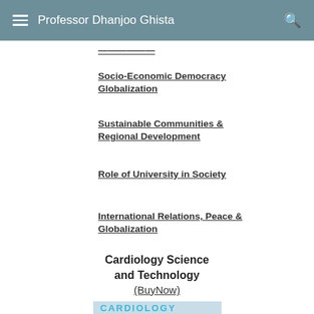Professor Dhanjoo Ghista
Socio-Economic Democracy Globalization
Sustainable Communities & Regional Development
Role of University in Society
International Relations, Peace & Globalization
Cardiology Science and Technology
(BuyNow)
[Figure (photo): Book cover image for Cardiology Science and Technology, showing text CARDIOLOGY in teal/cyan letters]